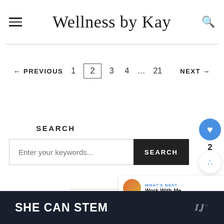Wellness by Kay
← PREVIOUS  1  2  3  4  …  21  NEXT →
SEARCH
Enter your keywords...  SEARCH
SHE CAN STEM